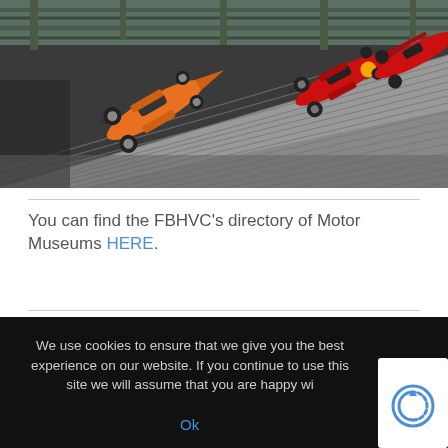[Figure (photo): Interior of a motor museum showing Formula 1 racing cars displayed on a dramatic angled steel structure. An orange McLaren F1 car and red Ferrari F1 cars are visible on the slanted display ramp, viewed from above, inside a large industrial building with metal roof trusses.]
You can find the FBHVC's directory of Motor Museums HERE.
We use cookies to ensure that we give you the best experience on our website. If you continue to use this site we will assume that you are happy wi...
Ok